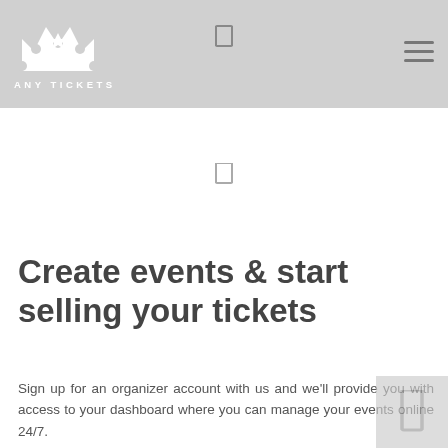ANY TICKETS
[Figure (logo): Any Tickets logo with crown/ticket icon and text ANY TICKETS]
[Figure (other): Shopping cart icon in header navigation]
[Figure (other): Hamburger menu icon in header navigation]
[Figure (other): Shopping cart icon in page body area]
Create events & start selling your tickets
Sign up for an organizer account with us and we'll provide you with access to your dashboard where you can manage your events online 24/7.